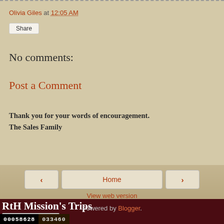Olivia Giles at 12:05 AM
Share
No comments:
Post a Comment
Thank you for your words of encouragement.
The Sales Family
Home
View web version
RtH Mission's Trips
Home
Powered by Blogger.
00058628  033460